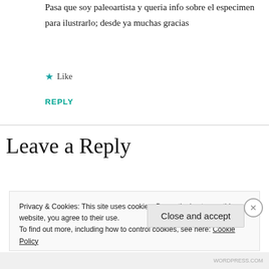Pasa que soy paleoartista y queria info sobre el especimen para ilustrarlo; desde ya muchas gracias
★ Like
REPLY
Leave a Reply
Privacy & Cookies: This site uses cookies. By continuing to use this website, you agree to their use.
To find out more, including how to control cookies, see here: Cookie Policy
Close and accept